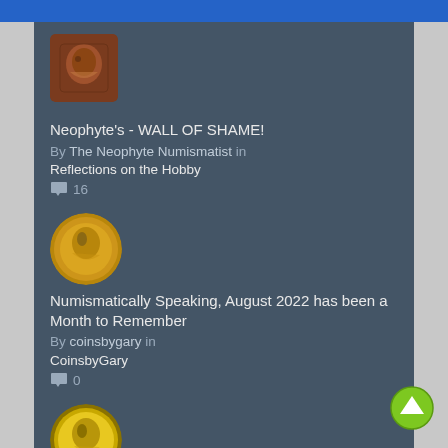[Figure (photo): Bronze coin avatar thumbnail, square with rounded corners]
Neophyte's - WALL OF SHAME!
By The Neophyte Numismatist in
Reflections on the Hobby
💬 16
[Figure (photo): Bronze coin avatar, circular]
Numismatically Speaking, August 2022 has been a Month to Remember
By coinsbygary in
CoinsbyGary
💬 0
[Figure (photo): Gold coin avatar, circular]
Making Progress and Hoping for Good News Soon.
By Revenant in
When I'm Wiser and I'm Older